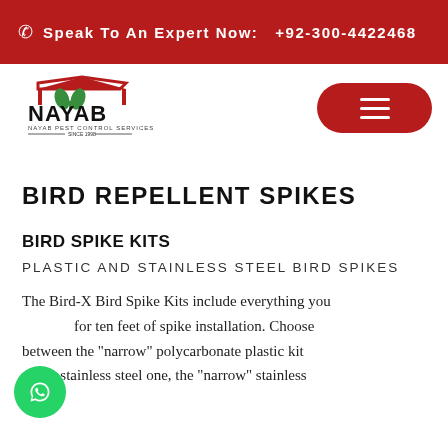Speak To An Expert Now: +92-300-4422468
[Figure (logo): Nayab Pest Control Services logo with house roof and green leaves]
BIRD REPELLENT SPIKES
BIRD SPIKE KITS
PLASTIC AND STAINLESS STEEL BIRD SPIKES
The Bird-X Bird Spike Kits include everything you need for ten feet of spike installation. Choose between the "narrow" polycarbonate plastic kit or the stainless steel one, the "narrow" stainless